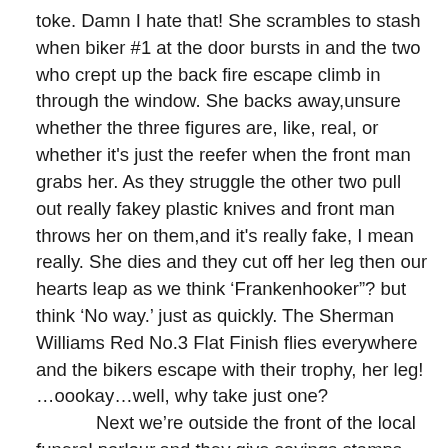toke. Damn I hate that! She scrambles to stash when biker #1 at the door bursts in and the two who crept up the back fire escape climb in through the window. She backs away,unsure whether the three figures are, like, real, or whether it's just the reefer when the front man grabs her. As they struggle the other two pull out really fakey plastic knives and front man throws her on them,and it's really fake, I mean really. She dies and they cut off her leg then our hearts leap as we think 'Frankenhooker"? but think 'No way.' just as quickly. The Sherman Williams Red No.3 Flat Finish flies everywhere and the bikers escape with their trophy, her leg! …oookay…well, why take just one?
	Next we're outside the front of the local funeral parlour,and they give savings stamps, what a nice service! We see Mama Fat and Papa Skinny enter, Mama Fat blubbering away, heh, get it? The undertaker sees them